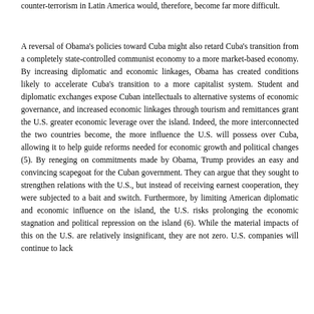counter-terrorism in Latin America would, therefore, become far more difficult.
A reversal of Obama's policies toward Cuba might also retard Cuba's transition from a completely state-controlled communist economy to a more market-based economy. By increasing diplomatic and economic linkages, Obama has created conditions likely to accelerate Cuba's transition to a more capitalist system. Student and diplomatic exchanges expose Cuban intellectuals to alternative systems of economic governance, and increased economic linkages through tourism and remittances grant the U.S. greater economic leverage over the island. Indeed, the more interconnected the two countries become, the more influence the U.S. will possess over Cuba, allowing it to help guide reforms needed for economic growth and political changes (5). By reneging on commitments made by Obama, Trump provides an easy and convincing scapegoat for the Cuban government. They can argue that they sought to strengthen relations with the U.S., but instead of receiving earnest cooperation, they were subjected to a bait and switch. Furthermore, by limiting American diplomatic and economic influence on the island, the U.S. risks prolonging the economic stagnation and political repression on the island (6). While the material impacts of this on the U.S. are relatively insignificant, they are not zero. U.S. companies will continue to lack